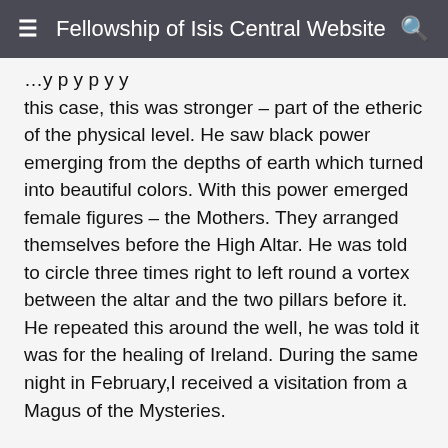Fellowship of Isis Central Website
this case, this was stronger – part of the etheric of the physical level. He saw black power emerging from the depths of earth which turned into beautiful colors. With this power emerged female figures – the Mothers. They arranged themselves before the High Altar. He was told to circle three times right to left round a vortex between the altar and the two pillars before it. He repeated this around the well, he was told it was for the healing of Ireland. During the same night in February,I received a visitation from a Magus of the Mysteries.
Outside the dungeon where the Mothers came from, I did at last see one of them in 2005. On a shelf above me were three voodoo dolls I had